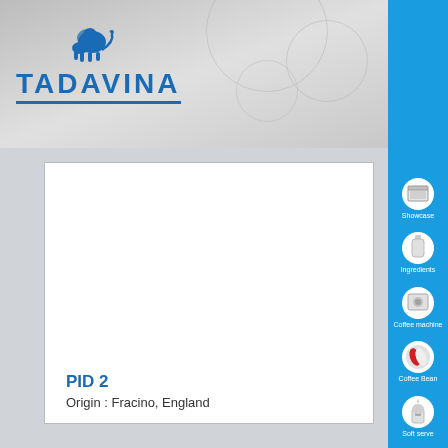[Figure (logo): Tadavina company logo with a lion icon above and blue text TADAVINA with underline]
[Figure (photo): Product image area showing PID 2 coffee machine, white background]
PID 2
Origin : Fracino, England
[Figure (illustration): Sidebar navigation with icons: Showcase, Ingredients, Coffee machine, Coffee Bean, Soft serve, and one more partially visible at bottom]